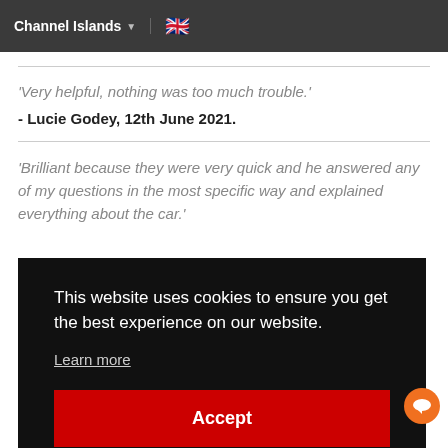Channel Islands
'Very helpful, nothing was too much trouble.'
- Lucie Godey, 12th June 2021.
'Brilliant because they were very quick and he answered any of my questions in the most specific way and explained everything about the car.'
This website uses cookies to ensure you get the best experience on our website.
Learn more
Accept
It's been a whirlwind of a week and I'm over the moon with my